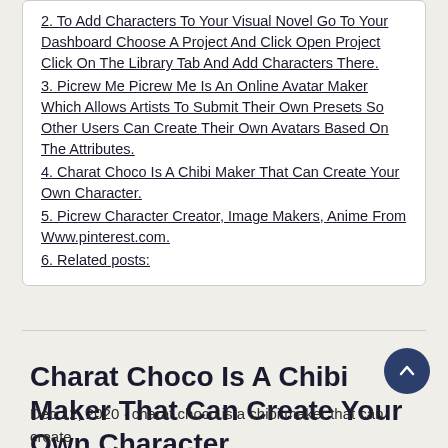2. To Add Characters To Your Visual Novel Go To Your Dashboard Choose A Project And Click Open Project Click On The Library Tab And Add Characters There.
3. Picrew Me Picrew Me Is An Online Avatar Maker Which Allows Artists To Submit Their Own Presets So Other Users Can Create Their Own Avatars Based On The Attributes.
4. Charat Choco Is A Chibi Maker That Can Create Your Own Character.
5. Picrew Character Creator, Image Makers, Anime From Www.pinterest.com.
6. Related posts:
Charat Choco Is A Chibi Maker That Can Create Your Own Character.
Dec 12, 2020 · charat choco is a chibi maker that can create